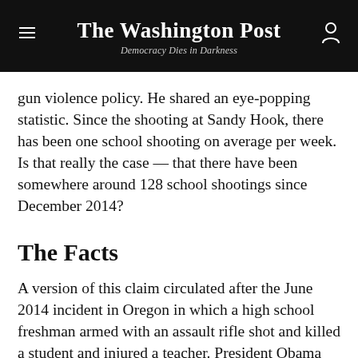The Washington Post — Democracy Dies in Darkness
gun violence policy. He shared an eye-popping statistic. Since the shooting at Sandy Hook, there has been one school shooting on average per week. Is that really the case — that there have been somewhere around 128 school shootings since December 2014?
The Facts
A version of this claim circulated after the June 2014 incident in Oregon in which a high school freshman armed with an assault rifle shot and killed a student and injured a teacher. President Obama and other gun-control advocates had said then that there had been at least 74 school shootings since Sandy Hook, and the...